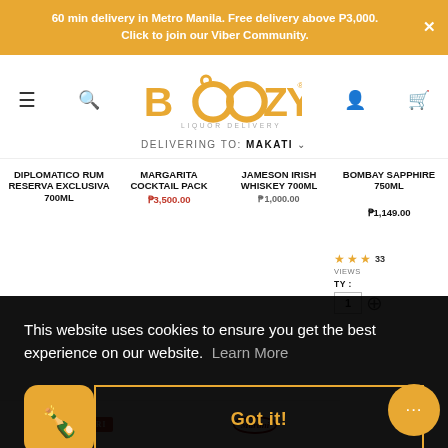60 min delivery in Metro Manila. Free delivery above P3,000. Click to join our Viber Community.
[Figure (logo): Boozy Liquor Delivery logo - orange text with bubbles above 'OO', tagline LIQUOR DELIVERY below]
DELIVERING TO: MAKATI
DIPLOMATICO RUM RESERVA EXCLUSIVA 700ML
MARGARITA COCKTAIL PACK P3,500.00
JAMESON IRISH WHISKEY 700ML P1,000.00
BOMBAY SAPPHIRE 750ML P1,149.00
This website uses cookies to ensure you get the best experience on our website. Learn More
Got it!